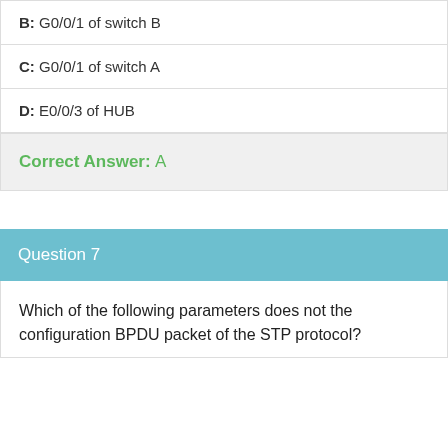B: G0/0/1 of switch B
C: G0/0/1 of switch A
D: E0/0/3 of HUB
Correct Answer: A
Question 7
Which of the following parameters does not the configuration BPDU packet of the STP protocol?